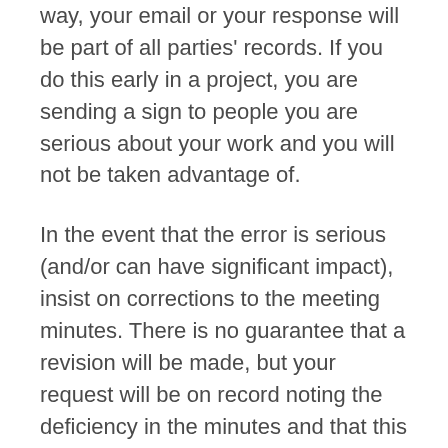way, your email or your response will be part of all parties' records. If you do this early in a project, you are sending a sign to people you are serious about your work and you will not be taken advantage of.
In the event that the error is serious (and/or can have significant impact), insist on corrections to the meeting minutes. There is no guarantee that a revision will be made, but your request will be on record noting the deficiency in the minutes and that this deficiency was serious.
I hope these best practices will help you draft better and more effective meeting